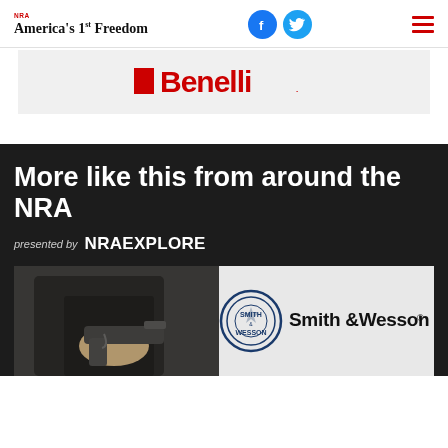NRA America's 1st Freedom
[Figure (logo): Benelli logo in red with icon on light gray background banner]
More like this from around the NRA
presented by NRA EXPLORE
[Figure (photo): Person in black jacket holding a handgun]
[Figure (logo): Smith & Wesson logo on light gray background]